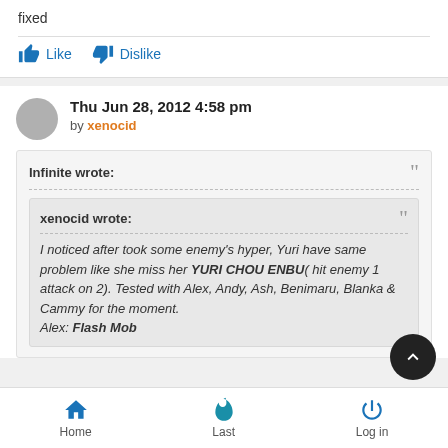fixed
Like   Dislike
Thu Jun 28, 2012 4:58 pm by xenocid
Infinite wrote:
xenocid wrote:
I noticed after took some enemy's hyper, Yuri have same problem like she miss her YURI CHOU ENBU( hit enemy 1 attack on 2). Tested with Alex, Andy, Ash, Benimaru, Blanka & Cammy for the moment. Alex: Flash Mob
Home   Last   Log in